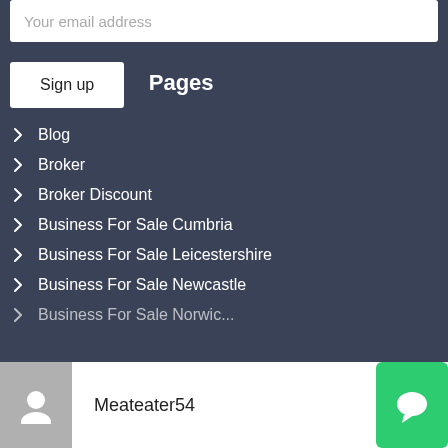Your email address
Sign up
Pages
Blog
Broker
Broker Discount
Business For Sale Cumbria
Business For Sale Leicestershire
Business For Sale Newcastle
Business For Sale Norwich (partial)
Meateater54